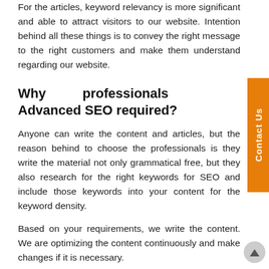For the articles, keyword relevancy is more significant and able to attract visitors to our website. Intention behind all these things is to convey the right message to the right customers and make them understand regarding our website.
Why professionals Advanced SEO required?
Anyone can write the content and articles, but the reason behind to choose the professionals is they write the material not only grammatical free, but they also research for the right keywords for SEO and include those keywords into your content for the keyword density.
Based on your requirements, we write the content. We are optimizing the content continuously and make changes if it is necessary.